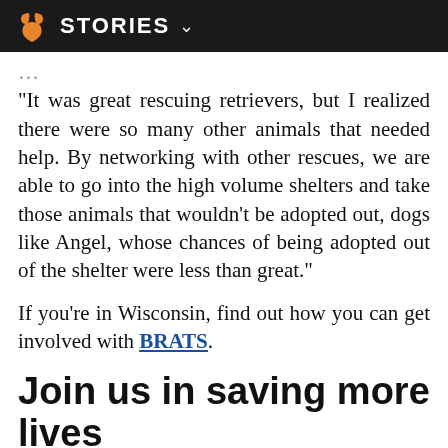STORIES
"It was great rescuing retrievers, but I realized there were so many other animals that needed help. By networking with other rescues, we are able to go into the high volume shelters and take those animals that wouldn't be adopted out, dogs like Angel, whose chances of being adopted out of the shelter were less than great."
If you're in Wisconsin, find out how you can get involved with BRATS.
Join us in saving more lives
Best Friends' No More Homeless Pets Network is made up of partner organizations that are making an impact on